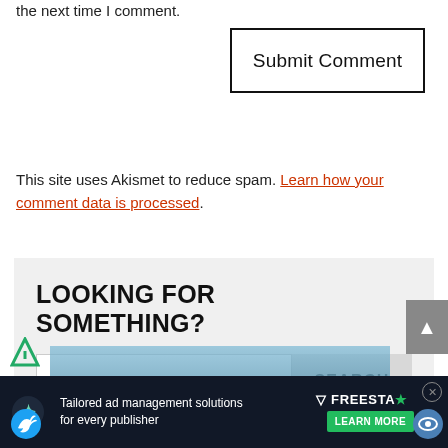the next time I comment.
Submit Comment
This site uses Akismet to reduce spam. Learn how your comment data is processed.
LOOKING FOR SOMETHING?
SEARCH
[Figure (screenshot): Ad banner for Freestar tailored ad management solutions for every publisher with Learn More button]
[Figure (screenshot): Scroll-to-top arrow button on right side]